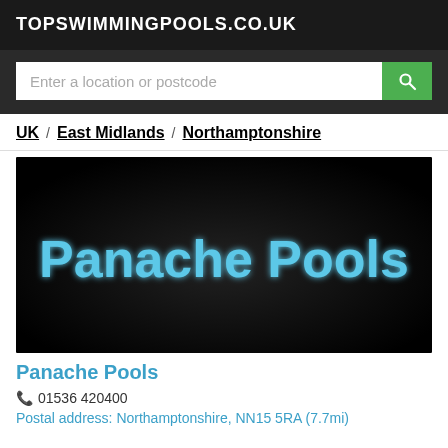TOPSWIMMINGPOOLS.CO.UK
[Figure (screenshot): Search input bar with placeholder 'Enter a location or postcode' and a green search button with magnifying glass icon]
UK / East Midlands / Northamptonshire
[Figure (photo): Dark background image with 'Panache Pools' text in blue glowing font — business listing banner image]
Panache Pools
📞 01536 420400
Postal address: Northamptonshire, NN15 5RA (7.7mi)